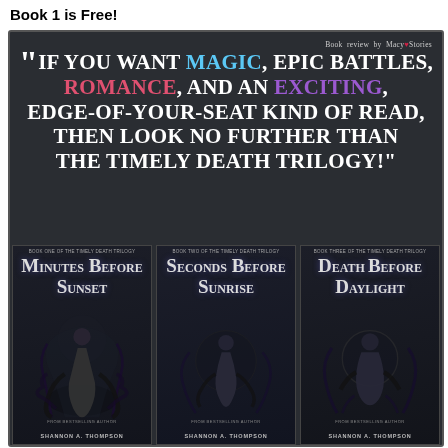Book 1 is Free!
[Figure (illustration): Dark promotional book review image for The Timely Death Trilogy by Shannon A. Thompson. Contains a quote: 'If you want magic, epic battles, romance, and an exciting, edge-of-your-seat kind of read, then look no further than The Timely Death Trilogy!' with the words magic (blue), romance (pink), and exciting (purple) highlighted. Below the quote are three book covers: Minutes Before Sunset, Seconds Before Sunrise, and Death Before Daylight, each showing dark fantasy imagery with a figure and vine-like decorations, authored by Shannon A. Thompson. Top right credits: Book review by Macy♥Stories.]